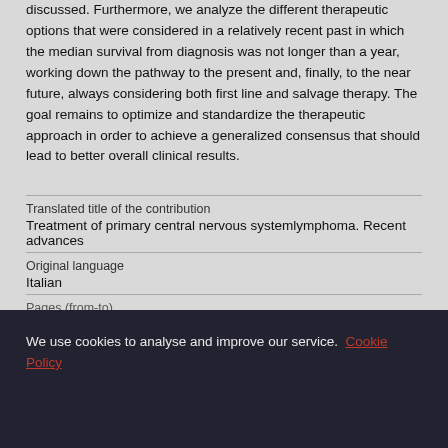discussed. Furthermore, we analyze the different therapeutic options that were considered in a relatively recent past in which the median survival from diagnosis was not longer than a year, working down the pathway to the present and, finally, to the near future, always considering both first line and salvage therapy. The goal remains to optimize and standardize the therapeutic approach in order to achieve a generalized consensus that should lead to better overall clinical results.
| Translated title of the contribution | Treatment of primary central nervous systemlymphoma. Recent advances |
| Original language | Italian |
| Pages (from-to) |  |
We use cookies to analyse and improve our service. Cookie Policy